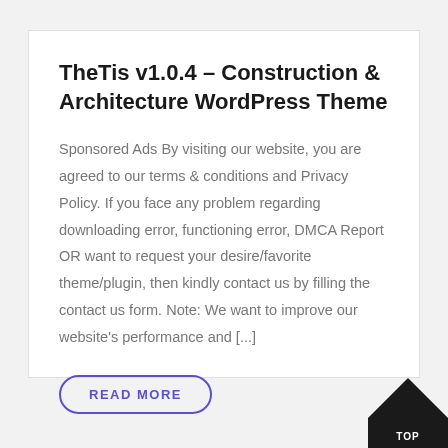TheTis v1.0.4 – Construction & Architecture WordPress Theme
Sponsored Ads By visiting our website, you are agreed to our terms & conditions and Privacy Policy. If you face any problem regarding downloading error, functioning error, DMCA Report OR want to request your desire/favorite theme/plugin, then kindly contact us by filling the contact us form. Note: We want to improve our website's performance and [...]
READ MORE